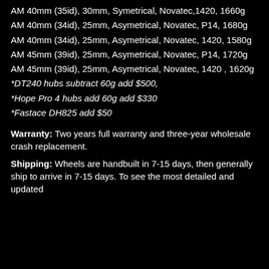AM 40mm (35id), 30mm, Symetrical, Novatec,1420, 1660g
AM 40mm (34id), 25mm, Asymetrical, Novatec, P14, 1680g
AM 40mm (34id), 25mm, Asymetrical, Novatec, 1420, 1580g
AM 45mm (39id), 25mm, Asymetrical, Novatec, P14, 1720g
AM 45mm (39id), 25mm, Asymetrical, Novatec, 1420 , 1620g
*DT240 hubs subtract 60g add $500,
*Hope Pro 4 hubs add 60g add $330
*Fastace DH825 add $50
Warranty: Two years full warranty and three-year wholesale crash replacement.
Shipping: Wheels are handbuilt in 7-15 days, then generally ship to arrive in 7-15 days. To see the most detailed and updated